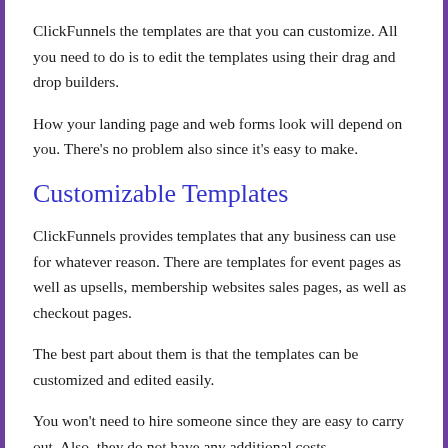ClickFunnels the templates are that you can customize. All you need to do is to edit the templates using their drag and drop builders.
How your landing page and web forms look will depend on you. There's no problem also since it's easy to make.
Customizable Templates
ClickFunnels provides templates that any business can use for whatever reason. There are templates for event pages as well as upsells, membership websites sales pages, as well as checkout pages.
The best part about them is that the templates can be customized and edited easily.
You won't need to hire someone since they are easy to carry out. Also, they do not have any additional costs.